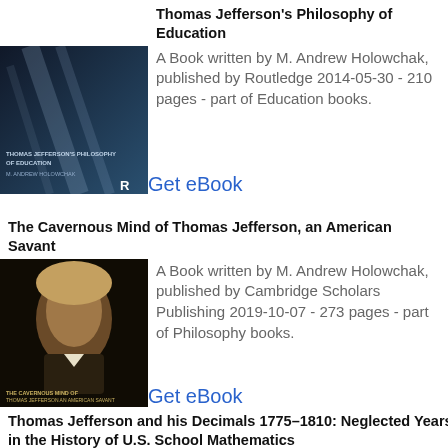Thomas Jefferson's Philosophy of Education
A Book written by M. Andrew Holowchak, published by Routledge 2014-05-30 - 210 pages - part of Education books.
Get eBook
The Cavernous Mind of Thomas Jefferson, an American Savant
A Book written by M. Andrew Holowchak, published by Cambridge Scholars Publishing 2019-10-07 - 273 pages - part of Philosophy books.
Get eBook
Thomas Jefferson and his Decimals 1775–1810: Neglected Years in the History of U.S. School Mathematics
A Book written by